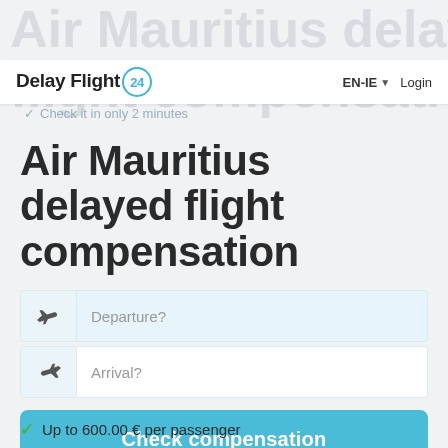Delay Flight 24 — EN-IE — Login
✓ Check it in only 2 minutes
Air Mauritius delayed flight compensation
Departure?
Arrival?
Check compensation
2203 review 4.99
Up to 600.00 € per passenger